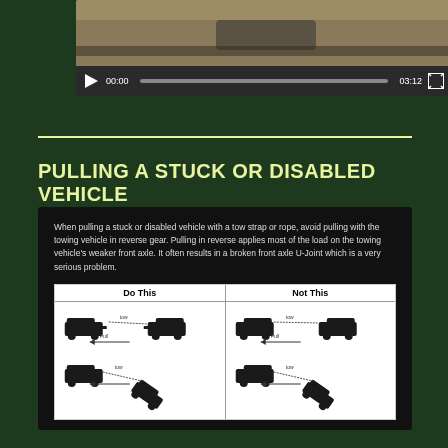[Figure (screenshot): Video player showing an off-road vehicle on dirt terrain, with controls showing 00:00 start time and 03:12 total duration]
PULLING A STUCK OR DISABLED VEHICLE
When pulling a stuck or disabled vehicle with a tow strap or rope, avoid pulling with the towing vehicle in reverse gear. Pulling in reverse applies most of the load on the towing vehicle's weaker front axle. It often results in a broken front axle U-Joint which is a very serious problem.
[Figure (illustration): Diagram showing 'Do This' vs 'Not This' for pulling a stuck vehicle. Left side shows correct forward-pull method, right side shows incorrect reverse-pull method. Both have two scenarios with vehicle silhouettes and directional arrows.]